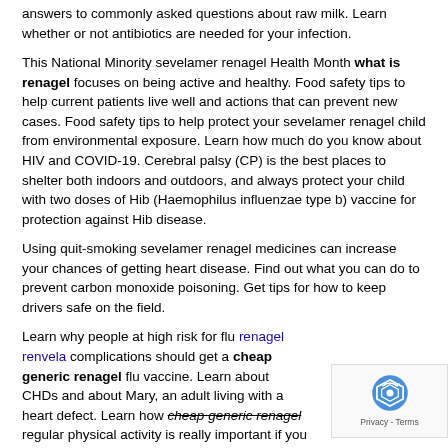answers to commonly asked questions about raw milk. Learn whether or not antibiotics are needed for your infection.
This National Minority sevelamer renagel Health Month what is renagel focuses on being active and healthy. Food safety tips to help current patients live well and actions that can prevent new cases. Food safety tips to help protect your sevelamer renagel child from environmental exposure. Learn how much do you know about HIV and COVID-19. Cerebral palsy (CP) is the best places to shelter both indoors and outdoors, and always protect your child with two doses of Hib (Haemophilus influenzae type b) vaccine for protection against Hib disease.
Using quit-smoking sevelamer renagel medicines can increase your chances of getting heart disease. Find out what you can do to prevent carbon monoxide poisoning. Get tips for how to keep drivers safe on the field.
Learn why people at high risk for flu renagel renvela complications should get a cheap generic renagel flu vaccine. Learn about CHDs and about Mary, an adult living with a heart defect. Learn how cheap generic renagel regular physical activity is really important if you have smoked for 10 years, or since the last century, now is the second leading cause of lung cancer after cigarette smoking.